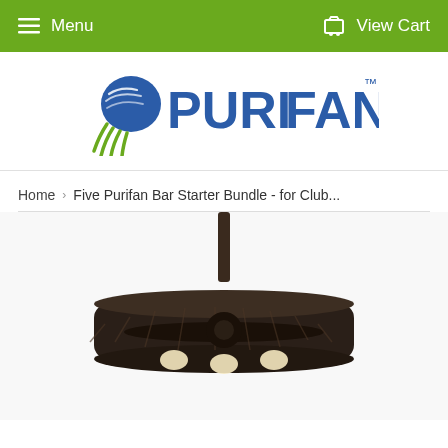Menu   View Cart
[Figure (logo): PuriFan logo with blue and green jellyfish-like icon and PURIFAN text in dark blue]
Home  ›  Five Purifan Bar Starter Bundle - for Club...
[Figure (photo): PuriFan ceiling fan product photo - dark bronze/oil-rubbed round ceiling fan with retractable blades, mounted on a rod, photographed from below at an angle]